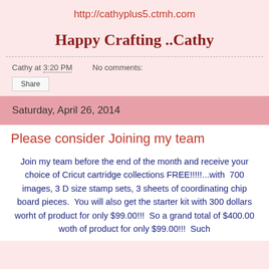http://cathyplus5.ctmh.com
Happy Crafting ..Cathy
Cathy at 3:20 PM    No comments:
Share
Saturday, April 26, 2014
Please consider Joining my team
Join my team before the end of the month and receive your choice of Cricut cartridge collections FREE!!!!!...with  700 images, 3 D size stamp sets, 3 sheets of coordinating chip board pieces.  You will also get the starter kit with 300 dollars worht of product for only $99.00!!!  So a grand total of $400.00 woth of product for only $99.00!!!  Such